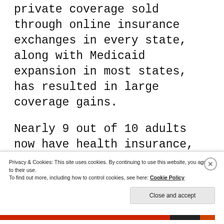private coverage sold through online insurance exchanges in every state, along with Medicaid expansion in most states, has resulted in large coverage gains.
Nearly 9 out of 10 adults now have health insurance, writes The Associated Press. It is about the same proportion of Americans who buckle their seatbelts...
Privacy & Cookies: This site uses cookies. By continuing to use this website, you agree to their use.
To find out more, including how to control cookies, see here: Cookie Policy